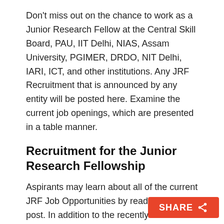Don't miss out on the chance to work as a Junior Research Fellow at the Central Skill Board, PAU, IIT Delhi, NIAS, Assam University, PGIMER, DRDO, NIT Delhi, IARI, ICT, and other institutions. Any JRF Recruitment that is announced by any entity will be posted here. Examine the current job openings, which are presented in a table manner.
Recruitment for the Junior Research Fellowship
Aspirants may learn about all of the current JRF Job Opportunities by reading this post. In addition to the recently disclosed information on JRF Recruitment. This article also contains information about the selection process, salary details, application status, syllabus, previous papers, and so on. Take a look at them and be ready in accordance with the norms of the c